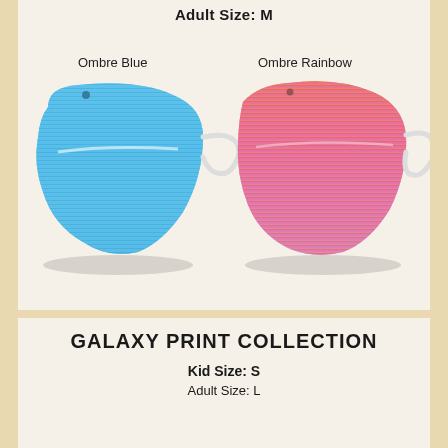Adult Size: M
[Figure (photo): Two face masks side by side on a textured white background. Left mask is Ombre Blue (gradient sky blue), right mask is Ombre Rainbow (gradient orange-pink-purple). Each mask has an ear loop visible.]
Ombre Blue
Ombre Rainbow
GALAXY PRINT COLLECTION
Kid Size: S
Adult Size: L